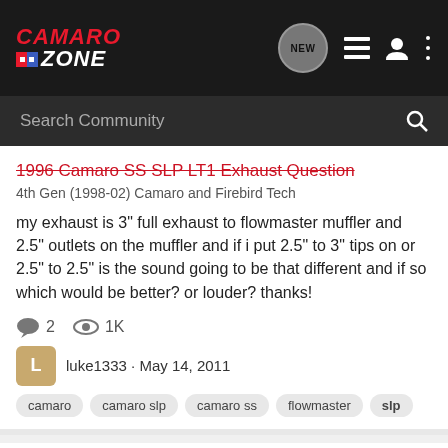Camaro Zone
Search Community
1996 Camaro SS SLP LT1 Exhaust Question
4th Gen (1998-02) Camaro and Firebird Tech
my exhaust is 3" full exhaust to flowmaster muffler and 2.5" outlets on the muffler and if i put 2.5" to 3" tips on or 2.5" to 2.5" is the sound going to be that different and if so which would be better? or louder? thanks!
2 replies · 1K views
luke1333 · May 14, 2011
camaro  camaro slp  camaro ss  flowmaster  slp
Hello all fellow fbody owners---my 1996 ss/slp
Introductions
Hey everyone! New to site and got a 1996 Camaro SS/SLP